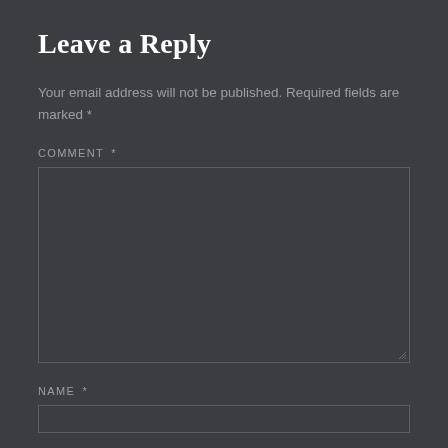Leave a Reply
Your email address will not be published. Required fields are marked *
COMMENT *
[Figure (other): Comment text area input field, large rectangular box with border, dark background, with resize handle in bottom-right corner]
NAME *
[Figure (other): Name text input field, single-line rectangular box with border, dark background, partially visible at bottom of page]